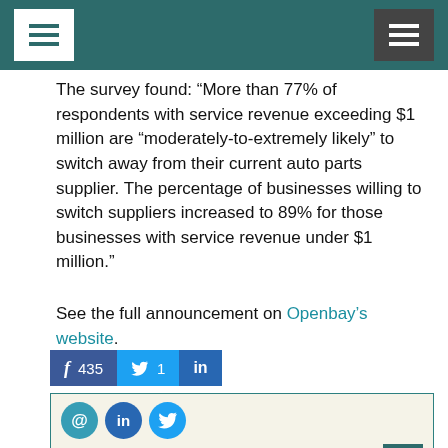[Navigation header with menu icons]
The survey found: “More than 77% of respondents with service revenue exceeding $1 million are “moderately-to-extremely likely” to switch away from their current auto parts supplier. The percentage of businesses willing to switch suppliers increased to 89% for those businesses with service revenue under $1 million.”
See the full announcement on Openbay’s website.
[Figure (infographic): Social share buttons: Facebook 435, Twitter 1, LinkedIn]
[Figure (infographic): Author card for Ina Steiner with email, LinkedIn, Twitter icons, photo, and bio text: Ina Steiner is co-founder and Editor of EcommerceBytes and has been reporting on ecommerce since 1999. She's a widely cited authority on marketplace selling and]
Ina Steiner
Ina Steiner is co-founder and Editor of EcommerceBytes and has been reporting on ecommerce since 1999. She's a widely cited authority on marketplace selling and